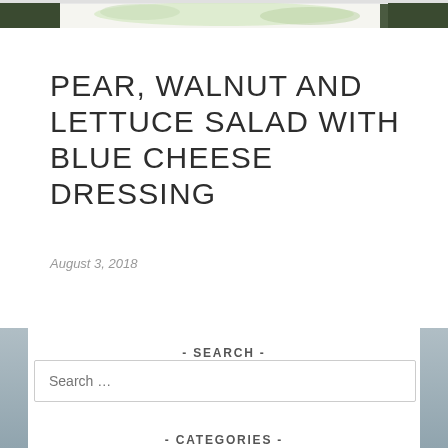[Figure (photo): Top of page showing partial food photo (salad) at the very top edge]
PEAR, WALNUT AND LETTUCE SALAD WITH BLUE CHEESE DRESSING
August 3, 2018
- SEARCH -
Search …
- CATEGORIES -